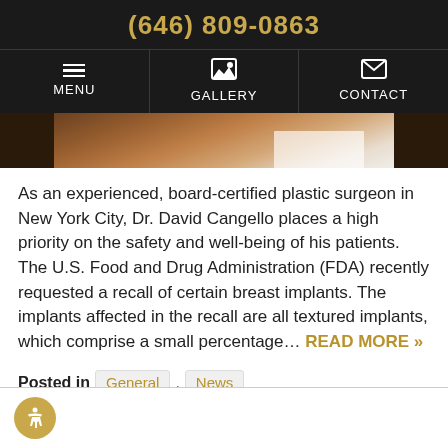(646) 809-0863
Menu | Gallery | Contact
[Figure (photo): Cropped photo of Dr. David Cangello, a board-certified plastic surgeon, wearing a white coat, partially visible from the torso up against a warm brown background.]
As an experienced, board-certified plastic surgeon in New York City, Dr. David Cangello places a high priority on the safety and well-being of his patients. The U.S. Food and Drug Administration (FDA) recently requested a recall of certain breast implants. The implants affected in the recall are all textured implants, which comprise a small percentage… READ MORE »
Posted in General , News